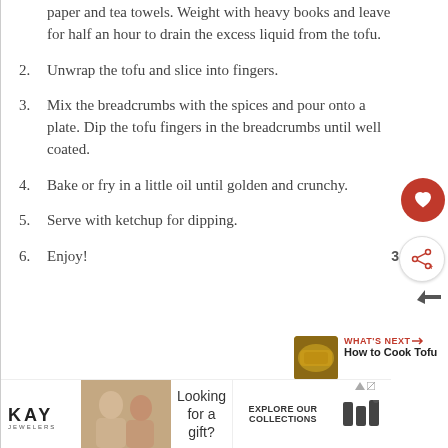paper and tea towels. Weight with heavy books and leave for half an hour to drain the excess liquid from the tofu.
2. Unwrap the tofu and slice into fingers.
3. Mix the breadcrumbs with the spices and pour onto a plate. Dip the tofu fingers in the breadcrumbs until well coated.
4. Bake or fry in a little oil until golden and crunchy.
5. Serve with ketchup for dipping.
6. Enjoy!
[Figure (other): What's Next promo thumbnail showing fried tofu with label 'How to Cook Tofu']
[Figure (other): Kay Jewelers advertisement banner: Looking for a gift? Explore Our Collections]